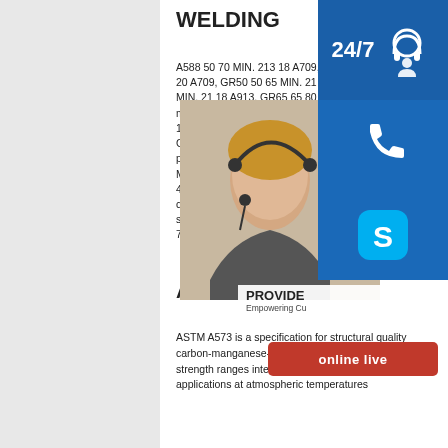WELDING
A588 50 70 MIN. 213 18 A709, GR36 36 58-80 212 20 A709, GR50 50 65 MIN. 21 18 A913, GR50 50 65 MIN. 21 18 A913, GR65 65 80 MIN. 17 15 Notes: maximum for shapes greater than 426 lb. Minimum is 19% for shapes greater than 3- Minimum is A573 Grade 58 - XinsteelA573Gr58 structural carbon steel plate of toughness owned the minimum yield strength MPa,and the tensile strength of A573Gr58 within 400-490Mpa.A573/A573M specification structural quality carbon manganese silicon plates in three tensile strength range for 58,A573 Grade 65 and A573 Grade 70.A573 intended primarily for service at
[Figure (photo): Customer service representative with headset, 24/7 support icons, phone icon, Skype icon, PROVIDE branding, and online live button]
ASTM A573 - SSAB
ASTM A573 is a specification for structural quality carbon-manganese-silicon steel plates in three tensile strength ranges intended primarily for structural applications at atmospheric temperatures